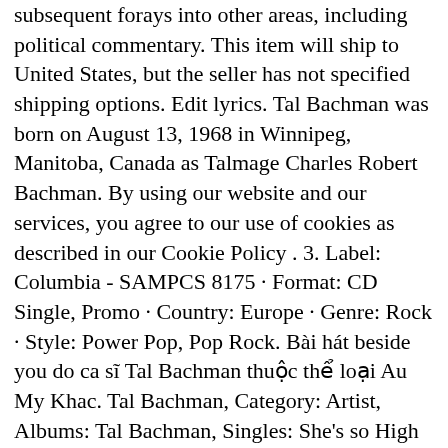subsequent forays into other areas, including political commentary. This item will ship to United States, but the seller has not specified shipping options. Edit lyrics. Tal Bachman was born on August 13, 1968 in Winnipeg, Manitoba, Canada as Talmage Charles Robert Bachman. By using our website and our services, you agree to our use of cookies as described in our Cookie Policy . 3. Label: Columbia - SAMPCS 8175 · Format: CD Single, Promo · Country: Europe · Genre: Rock · Style: Power Pop, Pop Rock. Bài hát beside you do ca sĩ Tal Bachman thuộc thể loại Au My Khac. Tal Bachman, Category: Artist, Albums: Tal Bachman, Singles: She's so High (Re-Recorded), Top Tracks: She's so High, If You Sleep, Darker Side Of Blue, (You Love) Like Nobody Loves Me, Beside You, Biography: As the son of Guess Who/BTO guitarist Randy Bachman, Canadian-born pop